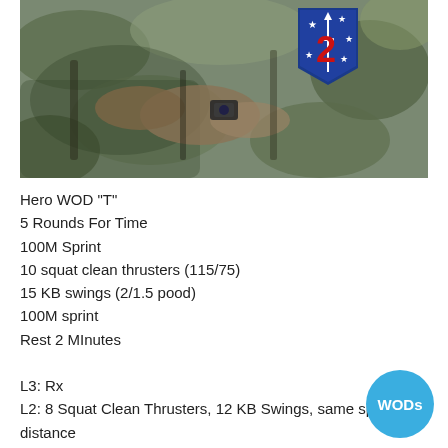[Figure (photo): Military soldier in camouflage gear with equipment, with a blue Marine Raider battalion shield (number 2, stars and sword) in the upper right corner of the image.]
Hero WOD "T"
5 Rounds For Time
100M Sprint
10 squat clean thrusters (115/75)
15 KB swings (2/1.5 pood)
100M sprint
Rest 2 MInutes

L3: Rx
L2: 8 Squat Clean Thrusters, 12 KB Swings, same sprint distance
95/65lbs  1.5/1 pood
L1: 8 Squat Clean Thrusters, 12 KB Swings, same sprint distance